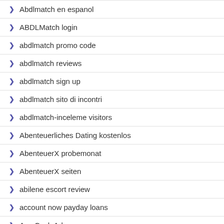Abdlmatch en espanol
ABDLMatch login
abdlmatch promo code
abdlmatch reviews
abdlmatch sign up
abdlmatch sito di incontri
abdlmatch-inceleme visitors
Abenteuerliches Dating kostenlos
AbenteuerX probemonat
AbenteuerX seiten
abilene escort review
account now payday loans
Ace Cash Advance
ace cash express loans online payday loans